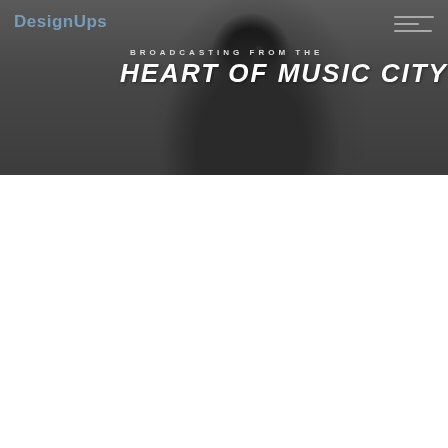[Figure (illustration): Dark grayscale hero banner with a silhouetted singer at a microphone, overlaid with the text 'BROADCASTING FROM THE HEART OF MUSIC CITY']
DesignUps
BROADCASTING FROM THE
HEART OF MUSIC CITY